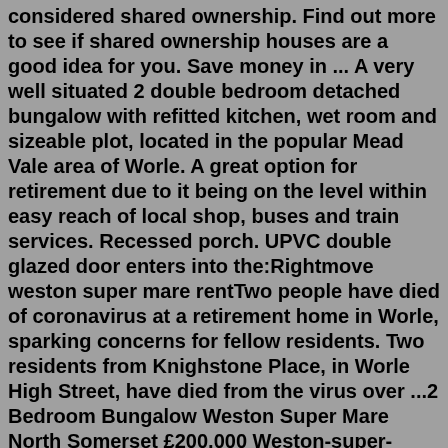considered shared ownership. Find out more to see if shared ownership houses are a good idea for you. Save money in ... A very well situated 2 double bedroom detached bungalow with refitted kitchen, wet room and sizeable plot, located in the popular Mead Vale area of Worle. A great option for retirement due to it being on the level within easy reach of local shop, buses and train services. Recessed porch. UPVC double glazed door enters into the:Rightmove weston super mare rentTwo people have died of coronavirus at a retirement home in Worle, sparking concerns for fellow residents. Two residents from Knighstone Place, in Worle High Street, have died from the virus over ...2 Bedroom Bungalow Weston Super Mare North Somerset £200,000 Weston-super-mare, North Somerset 2 bedrooms 1 bathroom Trv50852677 - rachel j homes is delighted to market this retirement bungalow ideally situated on the popular retirement development in north worle. If you are looking for... 17 Jun 2022 in Listanza 17 Bungalow For SaleSave up